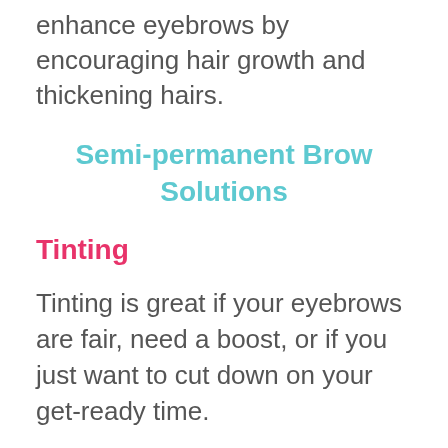enhance eyebrows by encouraging hair growth and thickening hairs.
Semi-permanent Brow Solutions
Tinting
Tinting is great if your eyebrows are fair, need a boost, or if you just want to cut down on your get-ready time.
This is a service which involves applying a semi-permanent dye to your brows to add thickness, shading and definition.